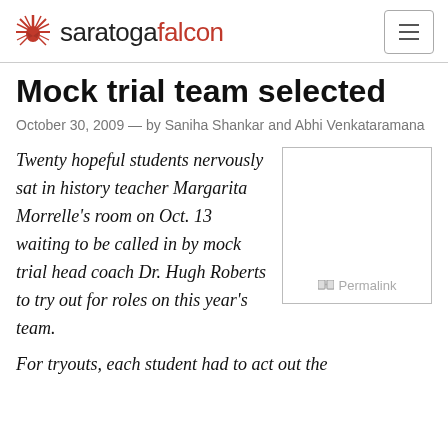saratogafalcon
Mock trial team selected
October 30, 2009 — by Saniha Shankar and Abhi Venkataramana
Twenty hopeful students nervously sat in history teacher Margarita Morrelle's room on Oct. 13 waiting to be called in by mock trial head coach Dr. Hugh Roberts to try out for roles on this year's team.
[Figure (other): Placeholder image box with Permalink label]
For tryouts, each student had to act out the